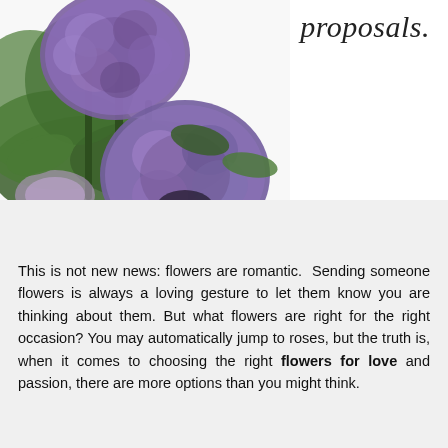[Figure (photo): Purple and mauve hydrangea flowers with green leaves on a white background, positioned in the upper-left of the page.]
proposals.
This is not new news: flowers are romantic.  Sending someone flowers is always a loving gesture to let them know you are thinking about them. But what flowers are right for the right occasion? You may automatically jump to roses, but the truth is, when it comes to choosing the right flowers for love and passion, there are more options than you might think.